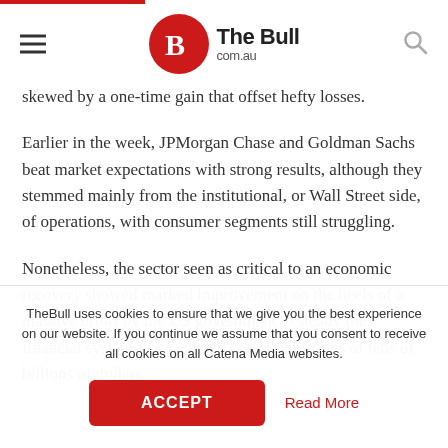The Bull com.au
skewed by a one-time gain that offset hefty losses.
Earlier in the week, JPMorgan Chase and Goldman Sachs beat market expectations with strong results, although they stemmed mainly from the institutional, or Wall Street side, of operations, with consumer segments still struggling.
Nonetheless, the sector seen as critical to an economic recovery showed marked improvement on the heels of a massive effort by the US government to steady the financial system that included capital injections of tens of billions of dollars.
TheBull uses cookies to ensure that we give you the best experience on our website. If you continue we assume that you consent to receive all cookies on all Catena Media websites.